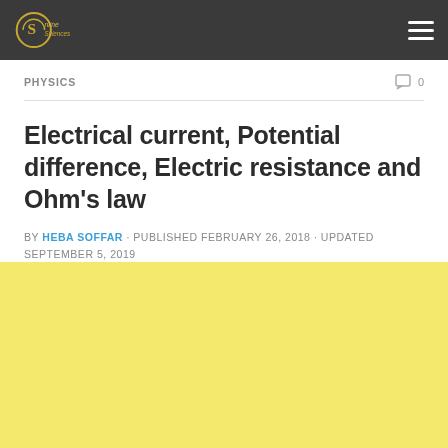Online Sciences
PHYSICS
Electrical current, Potential difference, Electric resistance and Ohm's law
BY HEBA SOFFAR · PUBLISHED FEBRUARY 26, 2018 · UPDATED SEPTEMBER 5, 2019
[Figure (other): Yellow advertisement block placeholder]